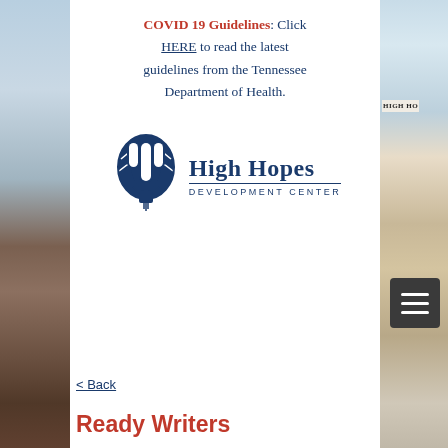COVID 19 Guidelines: Click HERE to read the latest guidelines from the Tennessee Department of Health.
[Figure (logo): High Hopes Development Center logo with hot air balloon icon and text]
< Back
Ready Writers